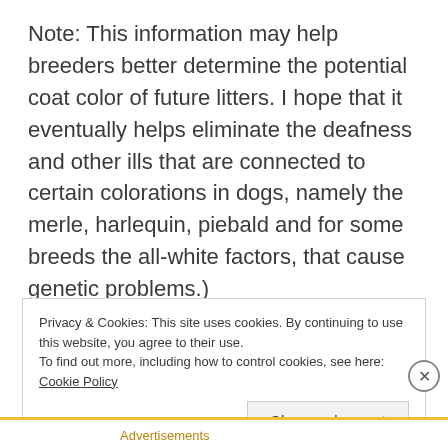Note: This information may help breeders better determine the potential coat color of future litters. I hope that it eventually helps eliminate the deafness and other ills that are connected to certain colorations in dogs, namely the merle, harlequin, piebald and for some breeds the all-white factors, that cause genetic problems.)
Privacy & Cookies: This site uses cookies. By continuing to use this website, you agree to their use. To find out more, including how to control cookies, see here: Cookie Policy
Close and accept
Advertisements